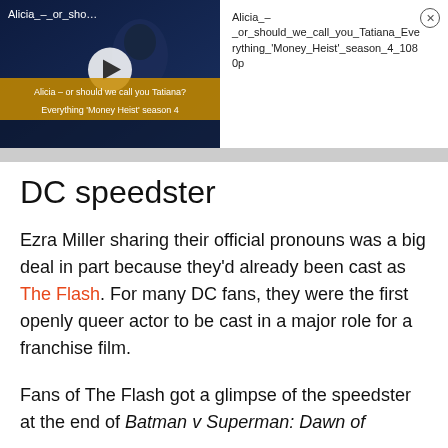[Figure (screenshot): Video player thumbnail showing a scene from 'Alicia – or should we call you Tatiana? Everything Money Heist season 4' with play button overlay and subtitle bar, alongside a panel showing the full video title and a close button.]
DC speedster
Ezra Miller sharing their official pronouns was a big deal in part because they'd already been cast as The Flash. For many DC fans, they were the first openly queer actor to be cast in a major role for a franchise film.
Fans of The Flash got a glimpse of the speedster at the end of Batman v Superman: Dawn of